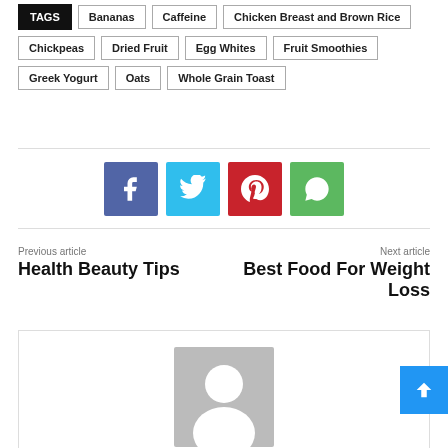TAGS  Bananas  Caffeine  Chicken Breast and Brown Rice  Chickpeas  Dried Fruit  Egg Whites  Fruit Smoothies  Greek Yogurt  Oats  Whole Grain Toast
[Figure (infographic): Social share buttons: Facebook (blue), Twitter (light blue), Pinterest (red), WhatsApp (green)]
Previous article
Health Beauty Tips
Next article
Best Food For Weight Loss
[Figure (photo): Author profile placeholder image with grey background and silhouette icon]